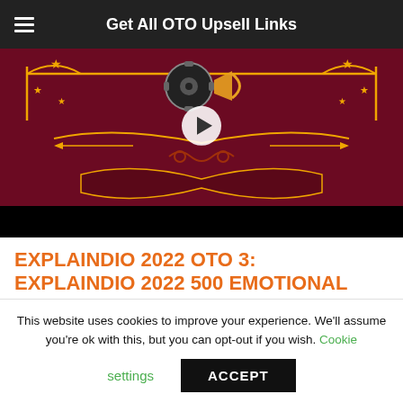Get All OTO Upsell Links
[Figure (screenshot): Video thumbnail showing a dark red/crimson background with decorative golden ornamental borders, stars, and a film reel graphic in the center. A circular play button is visible in the middle. The bottom portion is black.]
EXPLAINDIO 2022 OTO 3: EXPLAINDIO 2022 500 EMOTIONAL
This website uses cookies to improve your experience. We'll assume you're ok with this, but you can opt-out if you wish. Cookie settings ACCEPT